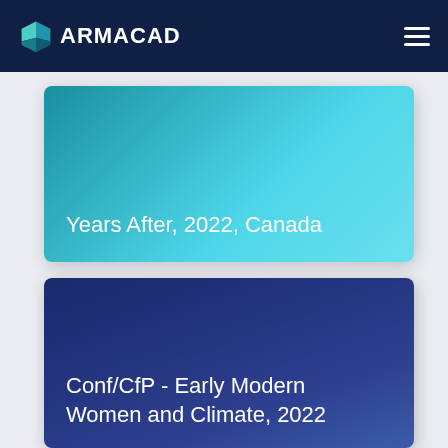ARMACAD
Years After, 2022, Canada
Conf/CfP - Early Modern Women and Climate, 2022